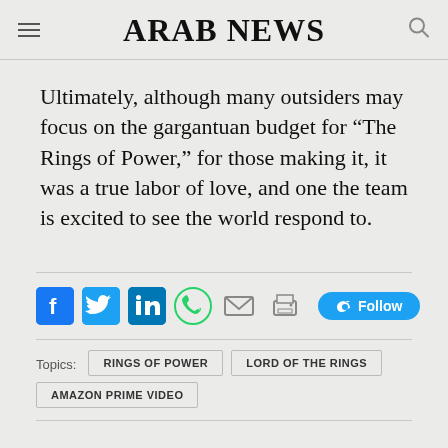ARAB NEWS
Ultimately, although many outsiders may focus on the gargantuan budget for “The Rings of Power,” for those making it, it was a true labor of love, and one the team is excited to see the world respond to.
[Figure (infographic): Social media sharing icons: Facebook, Twitter, LinkedIn, WhatsApp, Email, Print, and a Twitter Follow button]
Topics: RINGS OF POWER   LORD OF THE RINGS   AMAZON PRIME VIDEO